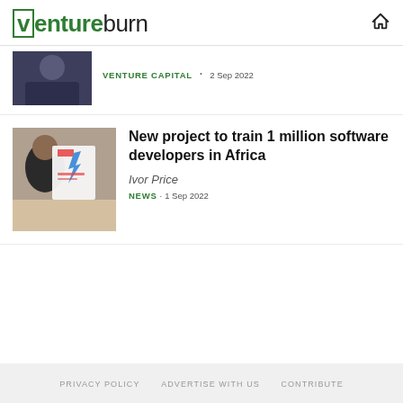ventureburn
[Figure (photo): Partially cropped photo of a person in dark clothing]
VENTURE CAPITAL · 2 Sep 2022
[Figure (photo): Photo of a person holding documents with colorful design]
New project to train 1 million software developers in Africa
Ivor Price
NEWS · 1 Sep 2022
PRIVACY POLICY  ADVERTISE WITH US  CONTRIBUTE